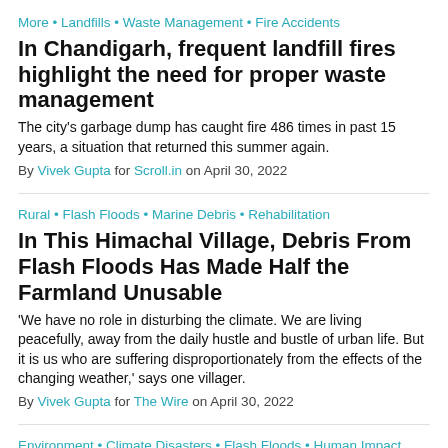More • Landfills • Waste Management • Fire Accidents
In Chandigarh, frequent landfill fires highlight the need for proper waste management
The city's garbage dump has caught fire 486 times in past 15 years, a situation that returned this summer again.
By Vivek Gupta for Scroll.in on April 30, 2022
Rural • Flash Floods • Marine Debris • Rehabilitation
In This Himachal Village, Debris From Flash Floods Has Made Half the Farmland Unusable
'We have no role in disturbing the climate. We are living peacefully, away from the daily hustle and bustle of urban life. But it is us who are suffering disproportionately from the effects of the changing weather,' says one villager.
By Vivek Gupta for The Wire on April 30, 2022
Environment • Climate Disasters • Flash Floods • Human Impact
'Our Minds Are Often Restless, Worrying That Floods